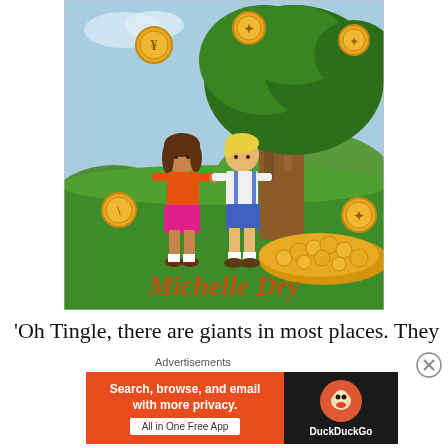[Figure (illustration): Children's book cover illustration showing two children (a girl in orange top and pink skirt, a boy in white shirt and blue shorts) standing beside a large tree. Golden coins are scattered in the grass and floating in the air. The author name 'Michelle Dry' appears at the bottom of the cover in orange text.]
'Oh Tingle, there are giants in most places. They
[Figure (screenshot): DuckDuckGo advertisement banner with orange left panel reading 'Search, browse, and email with more privacy. All in One Free App' and dark right panel with DuckDuckGo duck logo.]